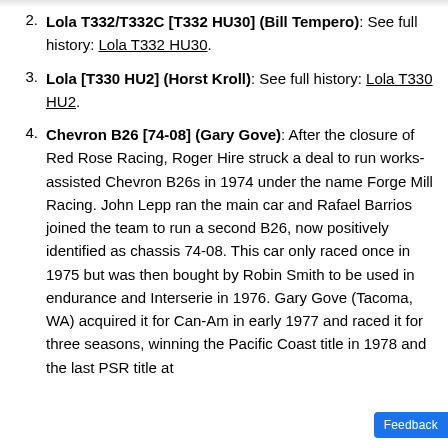Lola T332/T332C [T332 HU30] (Bill Tempero): See full history: Lola T332 HU30.
Lola [T330 HU2] (Horst Kroll): See full history: Lola T330 HU2.
Chevron B26 [74-08] (Gary Gove): After the closure of Red Rose Racing, Roger Hire struck a deal to run works-assisted Chevron B26s in 1974 under the name Forge Mill Racing. John Lepp ran the main car and Rafael Barrios joined the team to run a second B26, now positively identified as chassis 74-08. This car only raced once in 1975 but was then bought by Robin Smith to be used in endurance and Interserie in 1976. Gary Gove (Tacoma, WA) acquired it for Can-Am in early 1977 and raced it for three seasons, winning the Pacific Coast title in 1978 and the last PSR title at